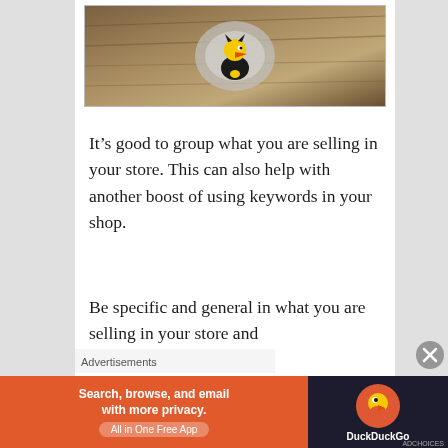[Figure (photo): A rubber duck toy wearing a black outfit with yellow coloring, placed in a rocky/woody outdoor setting with silver/metallic material behind it.]
It’s good to group what you are selling in your store. This can also help with another boost of using keywords in your shop.
Be specific and general in what you are selling in your store and
Advertisements
[Figure (other): DuckDuckGo advertisement banner: Search, browse, and email with more privacy. All in One Free App.]